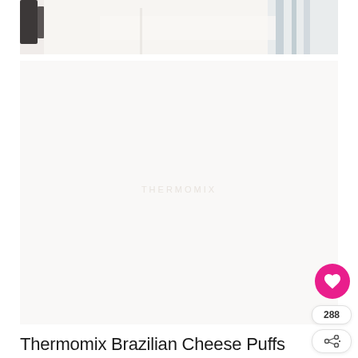[Figure (photo): Top portion of a food/recipe blog page showing a partial photo of kitchen cloth/towel with blue striped border and a dark rack or appliance element visible]
[Figure (photo): Large white/light colored image area (recipe photo, mainly blank/white background suggesting a styled food photo mostly out of frame) with a pink heart/like button showing 288 likes and a share button on the right side]
Thermomix Brazilian Cheese Puffs